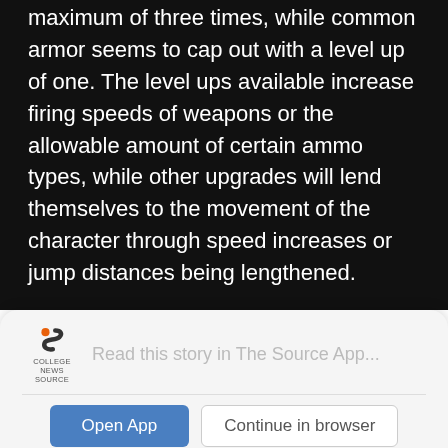maximum of three times, while common armor seems to cap out with a level up of one. The level ups available increase firing speeds of weapons or the allowable amount of certain ammo types, while other upgrades will lend themselves to the movement of the character through speed increases or jump distances being lengthened.
When everything was said and done the Destiny beta was an amazing experience, one in which hundreds of hours of game time were logged for the millions of gamers involved. That in and of itself is impressive since we were only allowed to play a small percentage of the overall
[Figure (logo): College News Source logo — stylized 'S' shape in dark gray and orange]
Read this story in The Source App...
Open App
Continue in browser